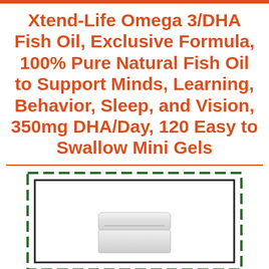Xtend-Life Omega 3/DHA Fish Oil, Exclusive Formula, 100% Pure Natural Fish Oil to Support Minds, Learning, Behavior, Sleep, and Vision, 350mg DHA/Day, 120 Easy to Swallow Mini Gels
[Figure (photo): Product image area showing a white pill/supplement bottle cap inside a solid black border rectangle, which is itself inside a green dashed border rectangle. The image shows the top portion of a white supplement bottle.]